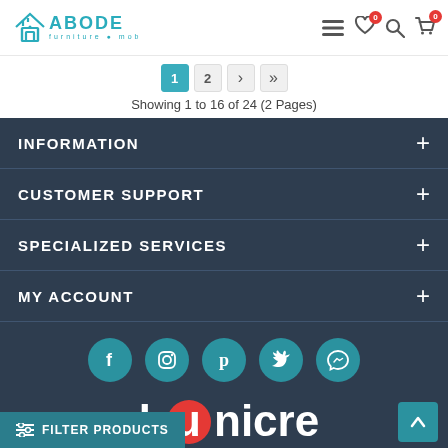[Figure (logo): Abode furniture mobiliário logo with teal house icon and wordmark]
[Figure (infographic): Navigation icons: hamburger menu, heart with badge 0, search, cart with badge 0]
Showing 1 to 16 of 24 (2 Pages)
INFORMATION
CUSTOMER SUPPORT
SPECIALIZED SERVICES
MY ACCOUNT
[Figure (infographic): Social media icons: Facebook, Instagram, Pinterest, Twitter, Messenger — teal circles]
[Figure (logo): Dunicre logo in white with red circle on u]
FILTER PRODUCTS